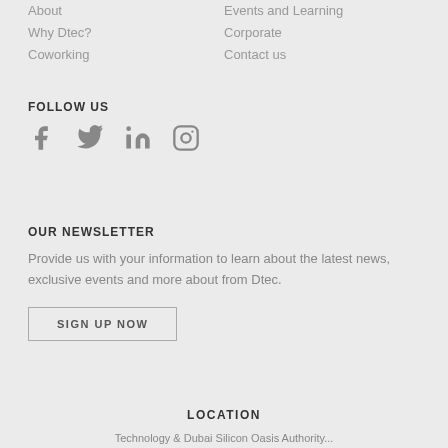About
Why Dtec?
Coworking
Events and Learning
Corporate
Contact us
FOLLOW US
[Figure (other): Social media icons: Facebook, Twitter, LinkedIn, Instagram]
OUR NEWSLETTER
Provide us with your information to learn about the latest news, exclusive events and more about from Dtec.
SIGN UP NOW
LOCATION
Technology & Dubai Silicon Oasis Authority...